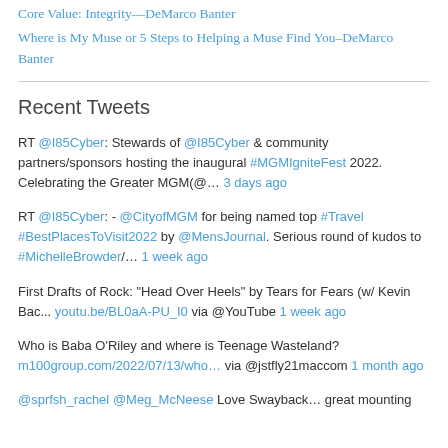Core Value: Integrity—DeMarco Banter
Where is My Muse or 5 Steps to Helping a Muse Find You–DeMarco Banter
Recent Tweets
RT @I85Cyber: Stewards of @I85Cyber & community partners/sponsors hosting the inaugural #MGMIgniteFest 2022. Celebrating the Greater MGM(@… 3 days ago
RT @I85Cyber: - @CityofMGM for being named top #Travel #BestPlacesToVisit2022 by @MensJournal. Serious round of kudos to #MichelleBrowder/… 1 week ago
First Drafts of Rock: "Head Over Heels" by Tears for Fears (w/ Kevin Bac... youtu.be/BL0aA-PU_I0 via @YouTube 1 week ago
Who is Baba O'Riley and where is Teenage Wasteland? m100group.com/2022/07/13/who… via @jstfly21maccom 1 month ago
@sprfsh_rachel @Meg_McNeese Love Swayback… great mounting